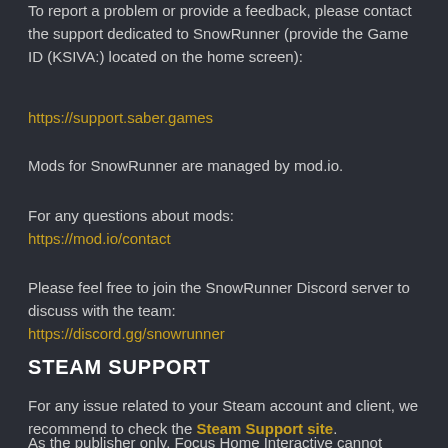To report a problem or provide a feedback, please contact the support dedicated to SnowRunner (provide the Game ID (KSIVA:) located on the home screen):
https://support.saber.games
Mods for SnowRunner are managed by mod.io.
For any questions about mods:
https://mod.io/contact
Please feel free to join the SnowRunner Discord server to discuss with the team:
https://discord.gg/snowrunner
STEAM SUPPORT
For any issue related to your Steam account and client, we recommend to check the Steam Support site.
As the publisher only, Focus Home Interactive cannot process...